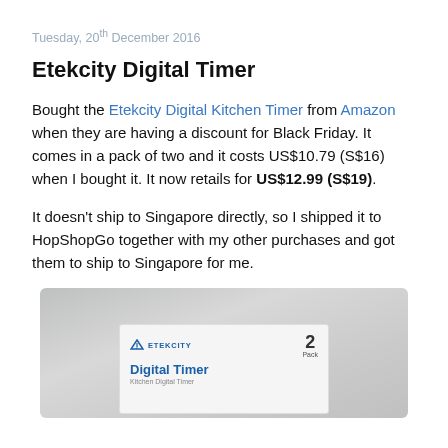Tuesday, 20th December 2016
Etekcity Digital Timer
Bought the Etekcity Digital Kitchen Timer from Amazon when they are having a discount for Black Friday. It comes in a pack of two and it costs US$10.79 (S$16) when I bought it. It now retails for US$12.99 (S$19).
It doesn't ship to Singapore directly, so I shipped it to HopShopGo together with my other purchases and got them to ship to Singapore for me.
[Figure (photo): Photo of Etekcity Digital Timer product box showing '2 Pack' label and 'Digital Timer' text in blue on a grey background]